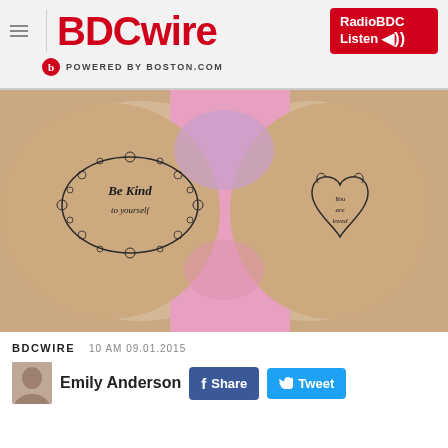BDCwire — POWERED BY BOSTON.COM — RadioBDC Listen
[Figure (photo): Close-up photo of two wrists/ankles side by side with small tattoos. Left tattoo reads 'Be Kind to yourself' inside a floral oval frame. Right tattoo shows a heart with text 'You are loved'. Background is pink/purple fabric.]
BDCWIRE   10 AM 09.01.2015
Emily Anderson
f Share
Tweet